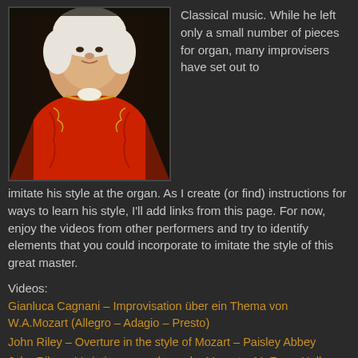[Figure (photo): Portrait painting of a young Mozart in red and gold outfit against dark background]
Classical music. While he left only a small number of pieces for organ, many improvisers have set out to imitate his style at the organ. As I create (or find) instructions for ways to learn his style, I'll add links from this page. For now, enjoy the videos from other performers and try to identify elements that you could incorporate to imitate the style of this great master.
Videos:
Gianluca Cagnani – Improvisation über ein Thema von W.A.Mozart (Allegro – Adagio – Presto)
John Riley – Overture in the style of Mozart – Paisley Abbey
John Riley – Variations on a theme by Mozart – McEwan Hall, Edinburgh